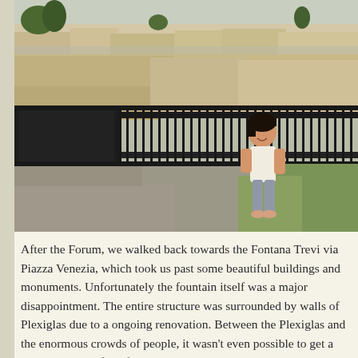[Figure (photo): A young child smiling and standing in front of a black metal fence railing, with ancient Roman ruins and historic buildings visible in the background. The scene appears to be at the Roman Forum area. The child is wearing a light top and blue-grey pants.]
After the Forum, we walked back towards the Fontana Trevi via Piazza Venezia, which took us past some beautiful buildings and monuments. Unfortunately the fountain itself was a major disappointment. The entire structure was surrounded by walls of Plexiglas due to a ongoing renovation. Between the Plexiglas and the enormous crowds of people, it wasn't even possible to get a decent picture of the fountain. It was a shame, because